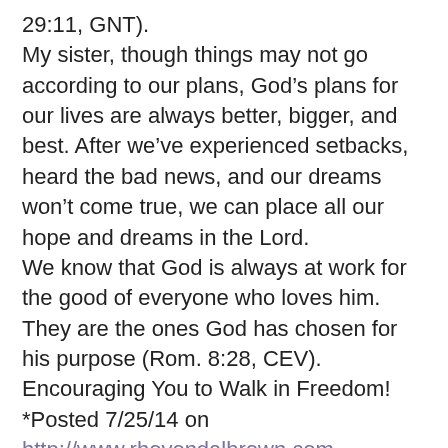29:11, GNT). My sister, though things may not go according to our plans, God's plans for our lives are always better, bigger, and best. After we've experienced setbacks, heard the bad news, and our dreams won't come true, we can place all our hope and dreams in the Lord. We know that God is always at work for the good of everyone who loves him. They are the ones God has chosen for his purpose (Rom. 8:28, CEV). Encouraging You to Walk in Freedom! *Posted 7/25/14 on http://www.rhovondalbrown.com Rhovonda L. Brown is speaker and